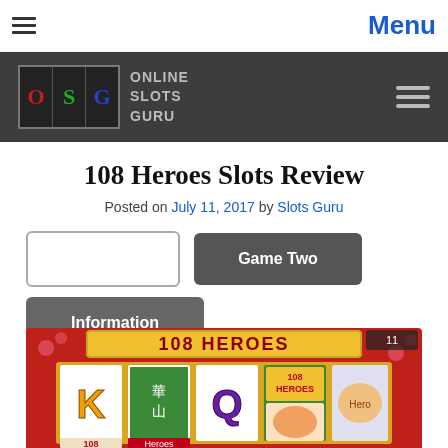Menu
[Figure (logo): Online Slots Guru logo with colored slot machine reel boxes (red, green, blue) and text ONLINE SLOTS GURU on dark background]
108 Heroes Slots Review
Posted on July 11, 2017 by Slots Guru
[Figure (screenshot): 108 Heroes slot game screenshot showing reels with K, Q symbols, 108 Heroes logo, and various character symbols on red background]